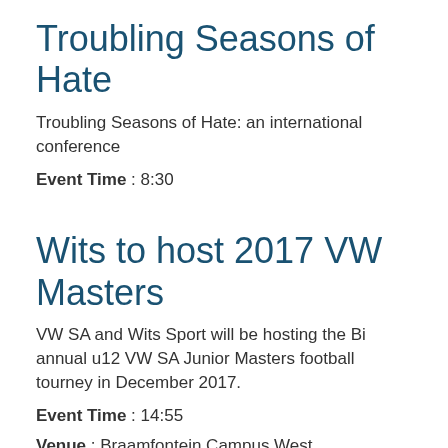Troubling Seasons of Hate
Troubling Seasons of Hate: an international conference
Event Time : 8:30
Wits to host 2017 VW Masters
VW SA and Wits Sport will be hosting the Bi annual u12 VW SA Junior Masters football tourney in December 2017.
Event Time : 14:55
Venue : Braamfontein Campus West
Launch of Non-Communicable